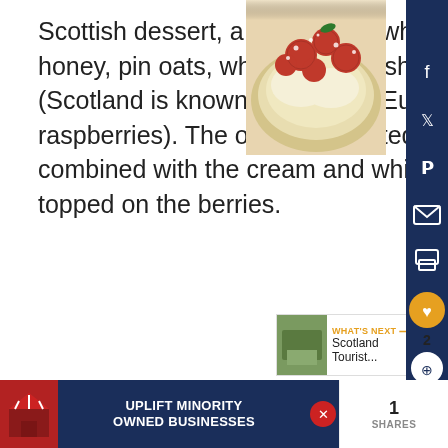[Figure (photo): A Scottish cranachan dessert with whipped cream, oats, and fresh raspberries on top, dusted with powdered sugar]
Scottish dessert, a mélange of whipped cream, honey, pin oats, whisky, and fresh raspberries (Scotland is known throughout Europe for quality raspberries). The oats are roasted and then combined with the cream and whisky before being topped on the berries.
[Figure (screenshot): Social media sidebar with Facebook, Twitter, Pinterest, email, print, heart (2 likes), and share buttons on dark navy background]
[Figure (screenshot): What's Next promotion - Scotland Tourist... with thumbnail]
[Figure (screenshot): Advertisement banner: UPLIFT MINORITY OWNED BUSINESSES with red awning icon on dark blue background]